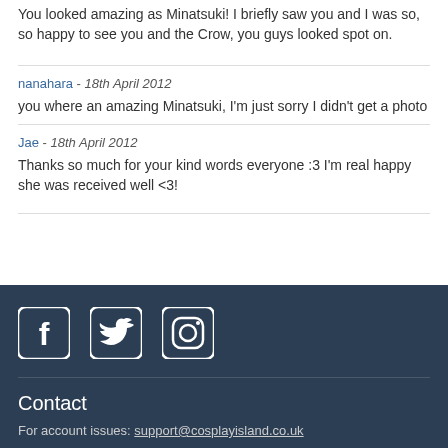You looked amazing as Minatsuki! I briefly saw you and I was so, so happy to see you and the Crow, you guys looked spot on.
nanahara - 18th April 2012
you where an amazing Minatsuki, I'm just sorry I didn't get a photo
Jae - 18th April 2012
Thanks so much for your kind words everyone :3 I'm real happy she was received well <3!
[Figure (other): Social media icons: Facebook, Twitter, Instagram on dark navy background]
Contact
For account issues: support@cosplayisland.co.uk